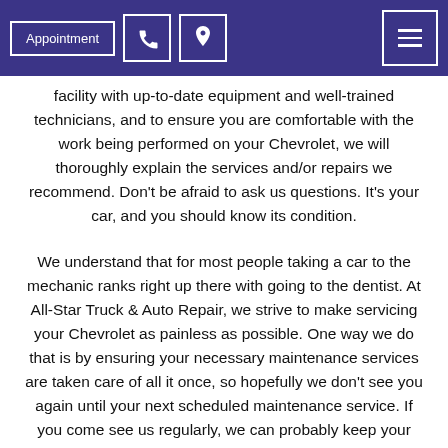Appointment | [phone icon] | [location icon] | [menu icon]
facility with up-to-date equipment and well-trained technicians, and to ensure you are comfortable with the work being performed on your Chevrolet, we will thoroughly explain the services and/or repairs we recommend. Don't be afraid to ask us questions. It's your car, and you should know its condition.
We understand that for most people taking a car to the mechanic ranks right up there with going to the dentist. At All-Star Truck & Auto Repair, we strive to make servicing your Chevrolet as painless as possible. One way we do that is by ensuring your necessary maintenance services are taken care of all it once, so hopefully we don't see you again until your next scheduled maintenance service. If you come see us regularly, we can probably keep your Chevrolet on the road for longer than you may think.